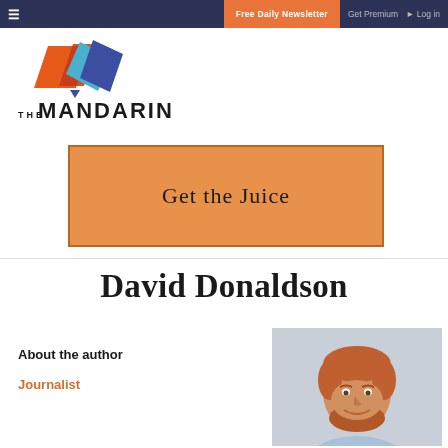≡  Free Daily Newsletter   Get Premium   ➤ Log in
[Figure (logo): The Mandarin logo: geometric diamond shapes in orange, red, blue with text THE MANDARIN below]
[Figure (other): Orange button/banner with text 'Get the Juice']
David Donaldson
About the author
Journalist
[Figure (photo): Headshot photo of David Donaldson, a young man with red/auburn hair and beard, smiling, wearing a light blue shirt, against a grey background]